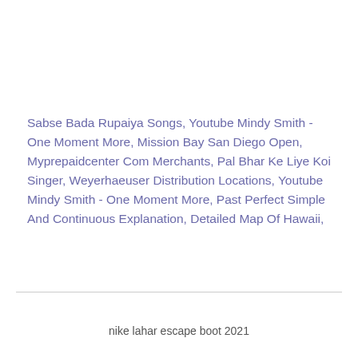Sabse Bada Rupaiya Songs, Youtube Mindy Smith - One Moment More, Mission Bay San Diego Open, Myprepaidcenter Com Merchants, Pal Bhar Ke Liye Koi Singer, Weyerhaeuser Distribution Locations, Youtube Mindy Smith - One Moment More, Past Perfect Simple And Continuous Explanation, Detailed Map Of Hawaii,
nike lahar escape boot 2021